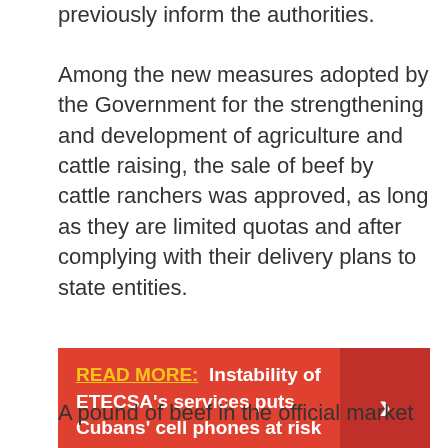previously inform the authorities.
Among the new measures adopted by the Government for the strengthening and development of agriculture and cattle raising, the sale of beef by cattle ranchers was approved, as long as they are limited quotas and after complying with their delivery plans to state entities.
READ MORE:  Instability of ETECSA's services puts Cubans' cell phones at risk
A pound of beef in the official market